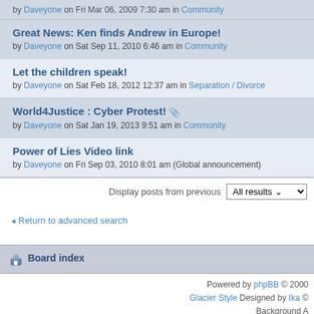by Daveyone on Fri Mar 06, 2009 7:30 am in Community
Great News: Ken finds Andrew in Europe! by Daveyone on Sat Sep 11, 2010 6:46 am in Community
Let the children speak! by Daveyone on Sat Feb 18, 2012 12:37 am in Separation / Divorce
World4Justice : Cyber Protest! by Daveyone on Sat Jan 19, 2013 9:51 am in Community
Power of Lies Video link by Daveyone on Fri Sep 03, 2010 8:01 am (Global announcement)
Display posts from previous All results
Return to advanced search
Board index
Powered by phpBB © 2000 Glacier Style Designed by Ika Background A po